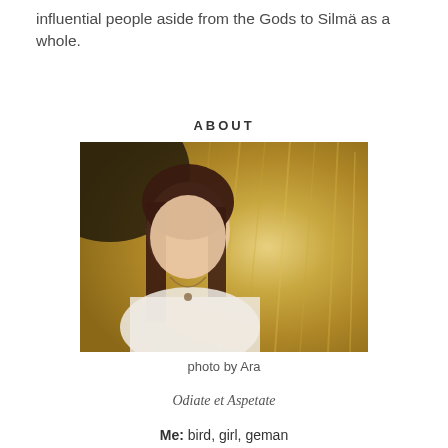influential people aside from the Gods to Silmä as a whole.
ABOUT
[Figure (photo): A young woman with long dark hair wearing a white top, photographed outdoors in a field of tall golden grass, smiling softly at the camera.]
photo by Ara
Odiate et Aspetate
Me: bird, girl, geman